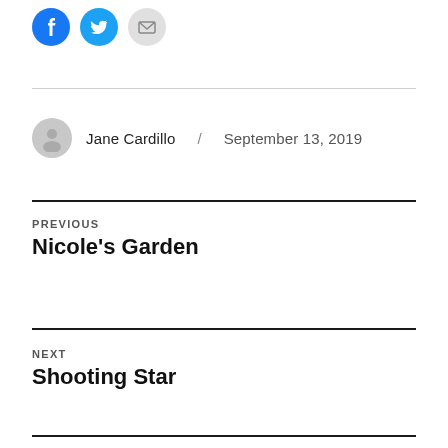[Figure (infographic): Three social share icon buttons: Facebook (blue circle), Twitter (blue circle), Email (gray circle)]
Jane Cardillo / September 13, 2019
PREVIOUS Nicole's Garden
NEXT Shooting Star